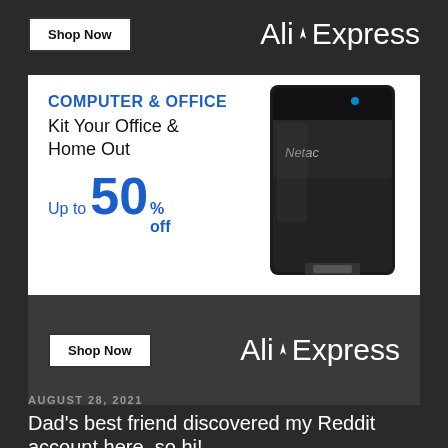[Figure (advertisement): AliExpress top banner strip with Shop Now button and AliExpress logo on dark background]
[Figure (advertisement): AliExpress Computer & Office ad: white content area with blue COMPUTER & OFFICE heading, Kit Your Office & Home Out tagline, Up to 50% off discount text, Netac external hard drive product image, dark bottom strip with Shop Now button and AliExpress logo]
AUGUST 28, 2021
Dad's best friend discovered my Reddit account here, so hi!